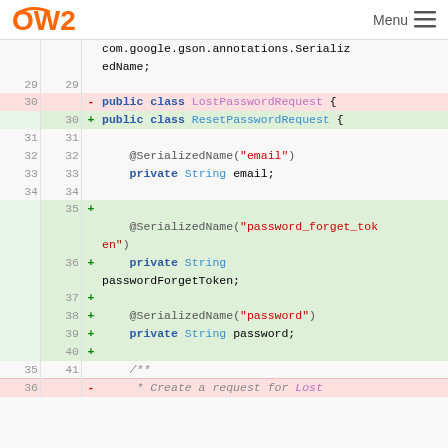OW2 Menu
[Figure (screenshot): Git diff view showing Java source code change renaming LostPasswordRequest class to ResetPasswordRequest and adding new fields: passwordForgetToken and password, with @SerializedName annotations.]